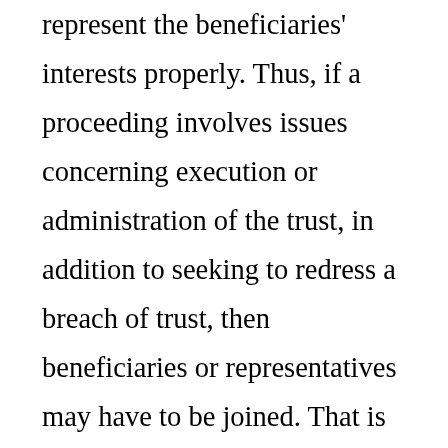represent the beneficiaries' interests properly. Thus, if a proceeding involves issues concerning execution or administration of the trust, in addition to seeking to redress a breach of trust, then beneficiaries or representatives may have to be joined. That is not 'generally' the position if the proceeding is confined to obtaining redress for a breach of trust. Accordingly, there is a distinction to be drawn between a proceeding concerning redress for a breach of trust, and a proceeding concerning execution or administration of the